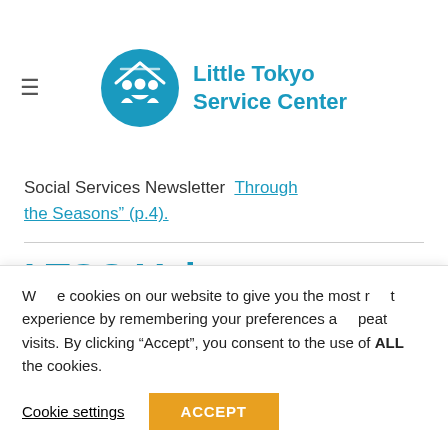Little Tokyo Service Center
Social Services Newsletter   Through the Seasons" (p.4).
LTSC Volunteer Wins Award for
We use cookies on our website to give you the most relevant experience by remembering your preferences and repeat visits. By clicking “Accept”, you consent to the use of ALL the cookies.
Cookie settings   ACCEPT